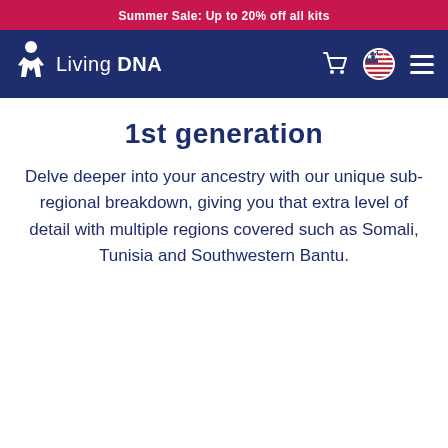Summer Sale: Up to 20% off all kits
[Figure (logo): Living DNA logo with navigation bar including cart icon, US flag, and hamburger menu on dark blue background]
1st generation
Delve deeper into your ancestry with our unique sub-regional breakdown, giving you that extra level of detail with multiple regions covered such as Somali, Tunisia and Southwestern Bantu.